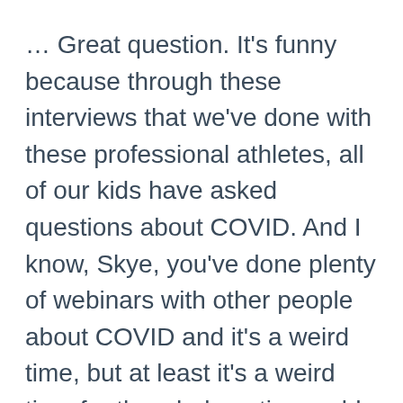… Great question. It's funny because through these interviews that we've done with these professional athletes, all of our kids have asked questions about COVID. And I know, Skye, you've done plenty of webinars with other people about COVID and it's a weird time, but at least it's a weird time for the whole entire world. We've all gone through it and we was in the same boat. Even our athletes are starting to just kind of get a little frustrated. Frustrated at virtual calls, frustrated with doing the same technical work and you can see the frustration coming because nobody knows quite when reality is